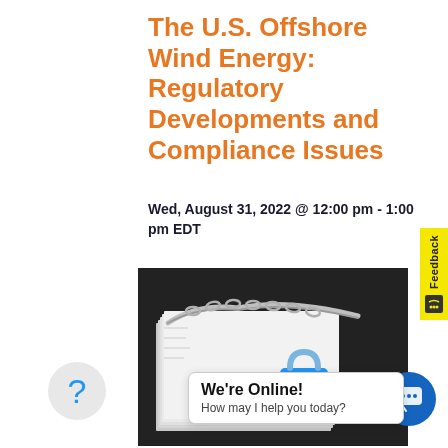The U.S. Offshore Wind Energy: Regulatory Developments and Compliance Issues
Wed, August 31, 2022 @ 12:00 pm - 1:00 pm EDT
[Figure (photo): Stack of papers/documents wrapped with a metal chain and a blue padlock, symbolizing regulatory compliance and data security.]
We're Online! How may I help you today?